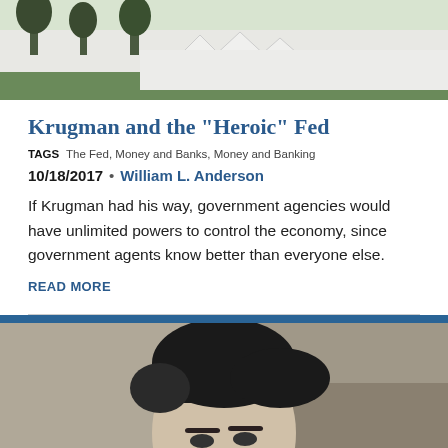[Figure (photo): Top banner photo showing an outdoor scene with trees and white tent structures against a white wall or building, green grass visible.]
Krugman and the "Heroic" Fed
TAGS   The Fed, Money and Banks, Money and Banking
10/18/2017  •  William L. Anderson
If Krugman had his way, government agencies would have unlimited powers to control the economy, since government agents know better than everyone else.
READ MORE
[Figure (photo): Black and white portrait photograph of a man with dark slicked-back hair, facing slightly to the side, partial view showing head and upper shoulders.]